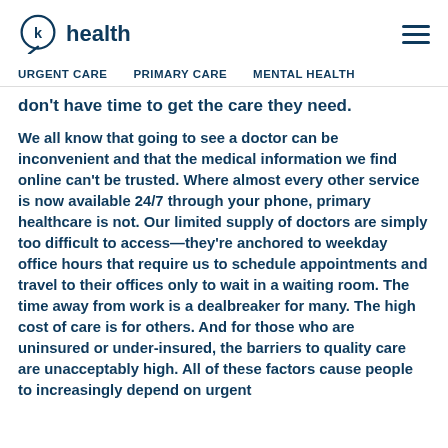k health  [hamburger menu]
URGENT CARE   PRIMARY CARE   MENTAL HEALTH
don't have time to get the care they need.
We all know that going to see a doctor can be inconvenient and that the medical information we find online can't be trusted. Where almost every other service is now available 24/7 through your phone, primary healthcare is not. Our limited supply of doctors are simply too difficult to access—they're anchored to weekday office hours that require us to schedule appointments and travel to their offices only to wait in a waiting room. The time away from work is a dealbreaker for many. The high cost of care is for others. And for those who are uninsured or under-insured, the barriers to quality care are unacceptably high. All of these factors cause people to increasingly depend on urgent